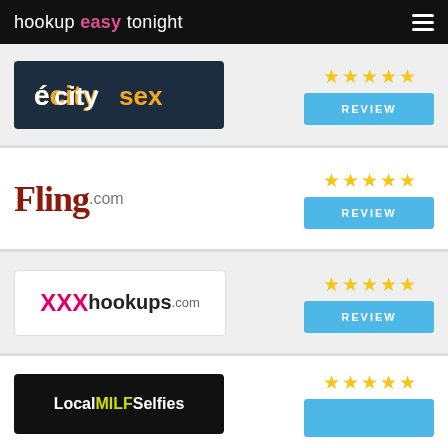hookup easy tonight
[Figure (logo): CitySex website logo on dark navy background with orange flame icon]
[Figure (infographic): 5 gold stars rating]
REVIEW
[Figure (logo): Fling.com logo in dark red serif font]
[Figure (infographic): 5 gold stars rating]
REVIEW
[Figure (logo): XXXHookups.com logo with pink XXX and black hookups text]
[Figure (infographic): 5 gold stars rating]
REVIEW
[Figure (logo): LocalMILFSelfies logo on black background with yellow-green MILF text]
[Figure (infographic): 5 gold stars rating]